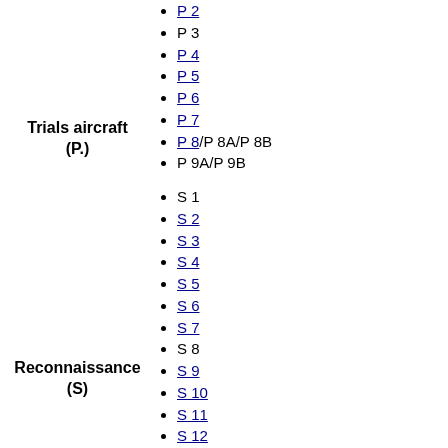P 2
P 3
P 4
P 5
P 6
P 7
P 8/P 8A/P 8B
P 9A/P 9B
Trials aircraft (P.)
S 1
S 2
S 3
S 4
S 5
S 6
S 7
S 8
S 9
S 10
S 11
S 12
S 13
S 14
S 15
S 16
Reconnaissance (S)